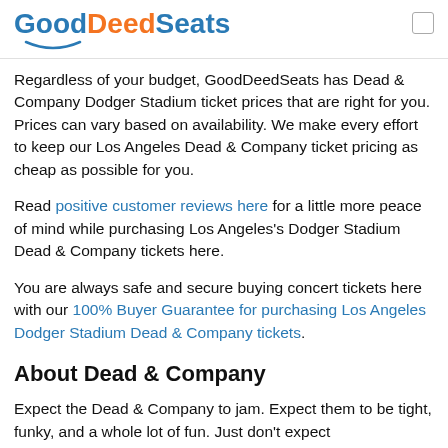GoodDeedSeats
Regardless of your budget, GoodDeedSeats has Dead & Company Dodger Stadium ticket prices that are right for you. Prices can vary based on availability. We make every effort to keep our Los Angeles Dead & Company ticket pricing as cheap as possible for you.
Read positive customer reviews here for a little more peace of mind while purchasing Los Angeles's Dodger Stadium Dead & Company tickets here.
You are always safe and secure buying concert tickets here with our 100% Buyer Guarantee for purchasing Los Angeles Dodger Stadium Dead & Company tickets.
About Dead & Company
Expect the Dead & Company to jam. Expect them to be tight, funky, and a whole lot of fun. Just don't expect